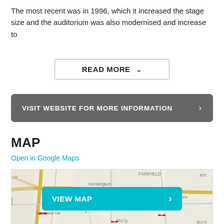The most recent was in 1996, which it increased the stage size and the auditorium was also modernised and increase to
READ MORE ∨
VISIT WEBSITE FOR MORE INFORMATION >
MAP
Open in Google Maps
[Figure (map): Street map showing area around Kensington, Fairfield, Brownlow Hill, Edge Ln, with road labels including A508, B517g, B5179. A teal 'VIEW MAP >' button overlays the map.]